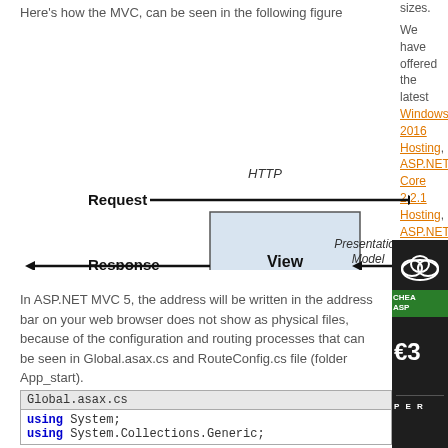Here's how the MVC, can be seen in the following figure
sizes.
We have offered the latest Windows 2016 Hosting, ASP.NET Core 2.2.1 Hosting, ASP.NET MVC 6 Hosting and SQL 2017 Hosting.
[Figure (engineering-diagram): MVC diagram showing HTTP Request arrow going right to a box, then arrows flowing through View box with Presentation Model label, and Response arrow going left back to start]
In ASP.NET MVC 5, the address will be written in the address bar on your web browser does not show as physical files, because of the configuration and routing processes that can be seen in Global.asax.cs and RouteConfig.cs file (folder App_start).
[Figure (other): Dark advertisement panel showing cloud icon, CHEA ASP green banner, Euro price symbol, and PER label]
Global.asax.cs
using System;
using System.Collections.Generic;